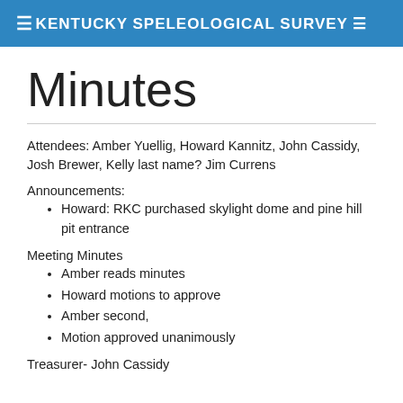KENTUCKY SPELEOLOGICAL SURVEY
Minutes
Attendees: Amber Yuellig, Howard Kannitz, John Cassidy, Josh Brewer, Kelly last name? Jim Currens
Announcements:
Howard: RKC purchased skylight dome and pine hill pit entrance
Meeting Minutes
Amber reads minutes
Howard motions to approve
Amber second,
Motion approved unanimously
Treasurer- John Cassidy